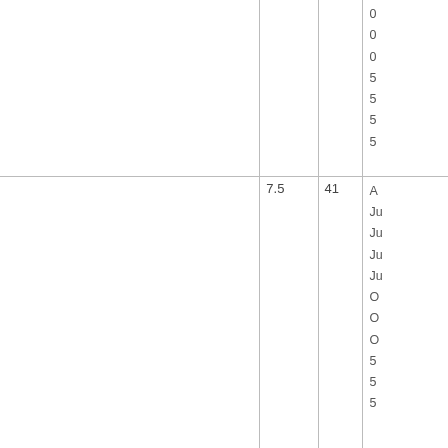|  |  |  | 0
0
0
5
5
5
5 |
|  | 7.5 | 41 | A
Ju
Ju
Ju
Ju
O
O
O
5
5
5 |